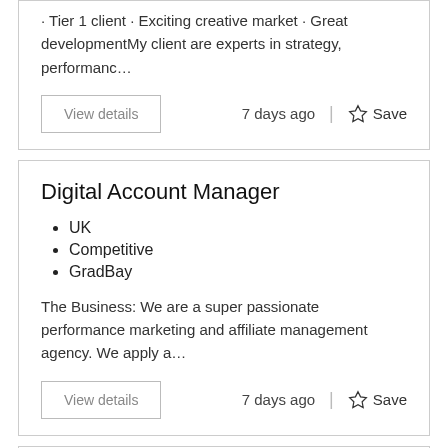Tier 1 client · Exciting creative market · Great developmentMy client are experts in strategy, performanc…
View details
7 days ago  |  ☆ Save
Digital Account Manager
UK
Competitive
GradBay
The Business: We are a super passionate performance marketing and affiliate management agency. We apply a…
View details
7 days ago  |  ☆ Save
Project/ Account Manager